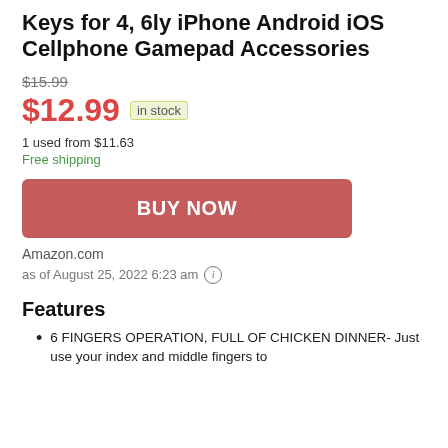Keys for 4, 6ly iPhone Android iOS Cellphone Gamepad Accessories
$15.99 (strikethrough original price)
$12.99 in stock
1 used from $11.63
Free shipping
BUY NOW
Amazon.com
as of August 25, 2022 6:23 am (i)
Features
6 FINGERS OPERATION, FULL OF CHICKEN DINNER- Just use your index and middle fingers to